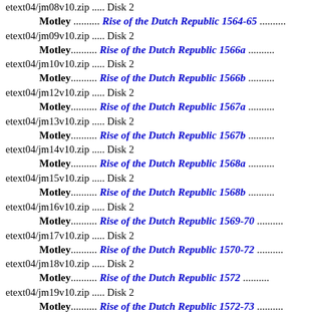etext04/jm08v10.zip ..... Disk 2
    Motley .......... Rise of the Dutch Republic 1564-65 ..........
etext04/jm09v10.zip ..... Disk 2
    Motley.......... Rise of the Dutch Republic 1566a ..........
etext04/jm10v10.zip ..... Disk 2
    Motley.......... Rise of the Dutch Republic 1566b ..........
etext04/jm12v10.zip ..... Disk 2
    Motley.......... Rise of the Dutch Republic 1567a ..........
etext04/jm13v10.zip ..... Disk 2
    Motley.......... Rise of the Dutch Republic 1567b ..........
etext04/jm14v10.zip ..... Disk 2
    Motley.......... Rise of the Dutch Republic 1568a ..........
etext04/jm15v10.zip ..... Disk 2
    Motley.......... Rise of the Dutch Republic 1568b ..........
etext04/jm16v10.zip ..... Disk 2
    Motley.......... Rise of the Dutch Republic 1569-70 ..........
etext04/jm17v10.zip ..... Disk 2
    Motley.......... Rise of the Dutch Republic 1570-72 ..........
etext04/jm18v10.zip ..... Disk 2
    Motley.......... Rise of the Dutch Republic 1572 ..........
etext04/jm19v10.zip ..... Disk 2
    Motley.......... Rise of the Dutch Republic 1572-73 ..........
etext04/jm20v10.zip ..... Disk 2
    Motley.......... Rise of the Dutch Republic 1573 ..........
etext04/jm21v10.zip ..... Disk 2
    Motley.......... Rise of the Dutch Republic 1573-74 ..........